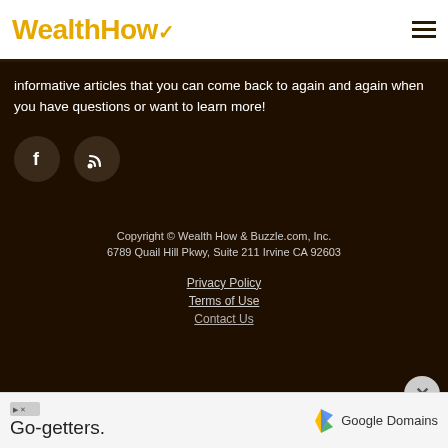WealthHow
informative articles that you can come back to again and again when you have questions or want to learn more!
[Figure (illustration): Two dark circular social media icons: Facebook (f) and RSS feed symbols on dark background]
Copyright © Wealth How & Buzzle.com, Inc.
6789 Quail Hill Pkwy, Suite 211 Irvine CA 92603
Privacy Policy
Terms of Use
Contact Us
[Figure (infographic): Advertisement bar at bottom: Go-getters. Google Domains with colored logo]